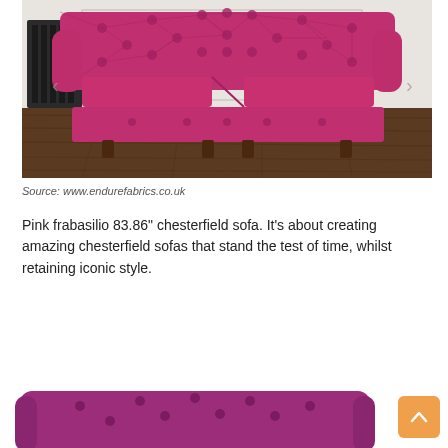[Figure (photo): Pink tufted chesterfield sofa (loveseat) photographed in a room with dark hardwood floors and grey/white walls with a black radiator visible on the left. The sofa is a vibrant hot-pink/magenta leather with button-tufted back, arms, and front apron, on dark wooden legs.]
Source: www.endurefabrics.co.uk
Pink frabasilio 83.86" chesterfield sofa. It’s about creating amazing chesterfield sofas that stand the test of time, whilst retaining iconic style.
[Figure (photo): Partial view of a purple/magenta chesterfield sofa, showing only the top tufted back portion, cropped at the bottom of the page.]